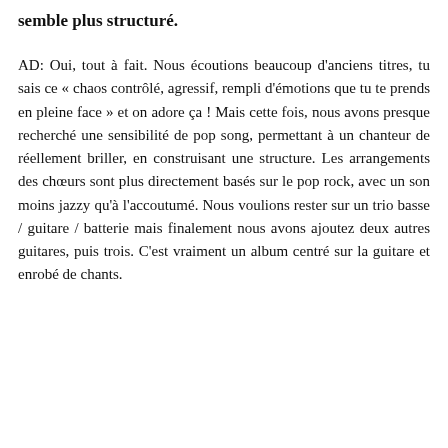semble plus structuré.
AD: Oui, tout à fait. Nous écoutions beaucoup d'anciens titres, tu sais ce « chaos contrôlé, agressif, rempli d'émotions que tu te prends en pleine face » et on adore ça ! Mais cette fois, nous avons presque recherché une sensibilité de pop song, permettant à un chanteur de réellement briller, en construisant une structure. Les arrangements des chœurs sont plus directement basés sur le pop rock, avec un son moins jazzy qu'à l'accoutumé. Nous voulions rester sur un trio basse / guitare / batterie mais finalement nous avons ajoutez deux autres guitares, puis trois. C'est vraiment un album centré sur la guitare et enrobé de chants.